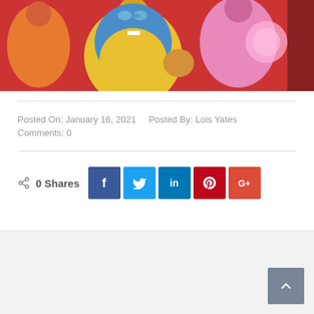[Figure (illustration): Comic book style illustration showing superhero characters including a figure in a yellow and blue costume with goggles, a pink-costumed character, and others with bright colors on a red background]
Posted On: January 16, 2021   Posted By: Lois Yates
Comments: 0
[Figure (infographic): Social share bar showing 0 Shares with Facebook, Twitter, LinkedIn, Pinterest, and Google+ buttons]